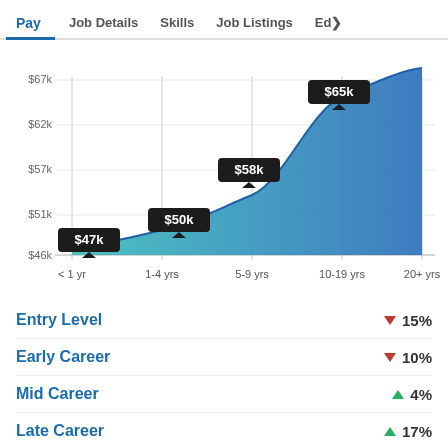Pay | Job Details | Skills | Job Listings | Ed...
[Figure (area-chart): Pay by Experience]
Entry Level  ▼ 15%
Early Career  ▼ 10%
Mid Career  ▲ 4%
Late Career  ▲ 17%